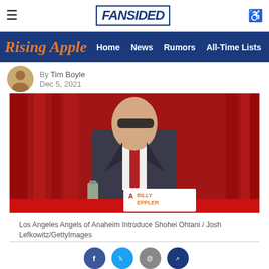FanSided — Rising Apple — Home | News | Rumors | All-Time Lists
By Tim Boyle
Dec 5, 2021
[Figure (photo): Man in dark suit and sunglasses seated at a table in front of red curtains, with a name placard reading BILLY EPPLER and a water bottle on the table. Los Angeles Angels logo on placard.]
Los Angeles Angels of Anaheim Introduce Shohei Ohtani / Josh Lefkowitz/GettyImages